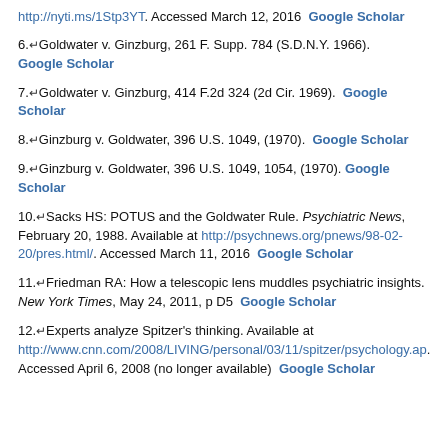http://nyti.ms/1Stp3YT. Accessed March 12, 2016  Google Scholar
6. Goldwater v. Ginzburg, 261 F. Supp. 784 (S.D.N.Y. 1966). Google Scholar
7. Goldwater v. Ginzburg, 414 F.2d 324 (2d Cir. 1969). Google Scholar
8. Ginzburg v. Goldwater, 396 U.S. 1049, (1970). Google Scholar
9. Ginzburg v. Goldwater, 396 U.S. 1049, 1054, (1970). Google Scholar
10. Sacks HS: POTUS and the Goldwater Rule. Psychiatric News, February 20, 1988. Available at http://psychnews.org/pnews/98-02-20/pres.html/. Accessed March 11, 2016  Google Scholar
11. Friedman RA: How a telescopic lens muddles psychiatric insights. New York Times, May 24, 2011, p D5  Google Scholar
12. Experts analyze Spitzer's thinking. Available at http://www.cnn.com/2008/LIVING/personal/03/11/spitzer/psychology.ap. Accessed April 6, 2008 (no longer available)  Google Scholar